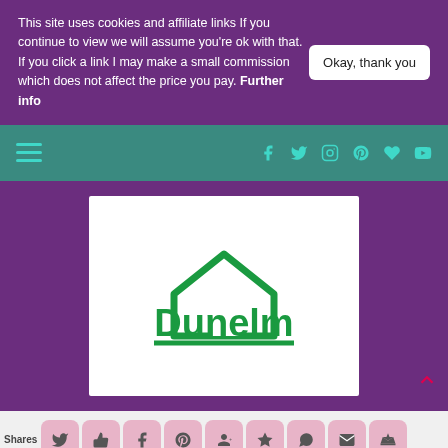This site uses cookies and affiliate links If you continue to view we will assume you're ok with that. If you click a link I may make a small commission which does not affect the price you pay. Further info
Okay, thank you
[Figure (screenshot): Navigation bar with hamburger menu and social media icons (Facebook, Twitter, Instagram, Pinterest, Heart, YouTube) on teal background]
[Figure (logo): Dunelm logo in green with house icon on white card, on purple background]
Shares
[Figure (screenshot): Share bar with pink social share buttons: Twitter, Thumbs Up, Facebook, Pinterest, Google+, Star, WhatsApp, Email, Crown]